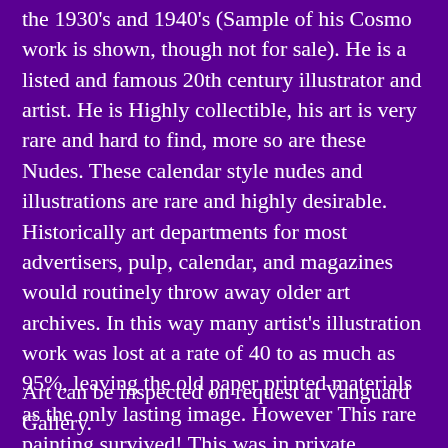the 1930's and 1940's (Sample of his Cosmo work is shown, though not for sale). He is a listed and famous 20th century illustrator and artist. He is Highly collectible, his art is very rare and hard to find, more so are these Nudes. These calendar style nudes and illustrations are rare and highly desirable. Historically art departments for most advertisers, pulp, calendar, and magazines would routinely throw away older art archives. In this way many artist's illustration work was lost at a rate of 40 to as much as 95%, leaving the old paper printed materials as the only lasting image. However This rare painting survived! This was in private collection for years and this is the first time this fine art print offered. (see other listings for original art by this artist.)
Art can be inspected on request at Vanguard Gallery.